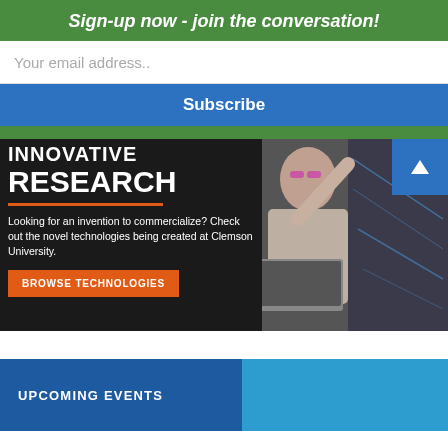Sign-up now - join the conversation!
Your email address..
Subscribe
[Figure (illustration): Innovative Research banner with a woman holding a laptop next to a display board, dark background left panel with text and browse button, photo on right side. An arrow navigation button in the top right corner.]
UPCOMING EVENTS
[Figure (other): Partial bottom blue two-tone banner, beginning of another section]